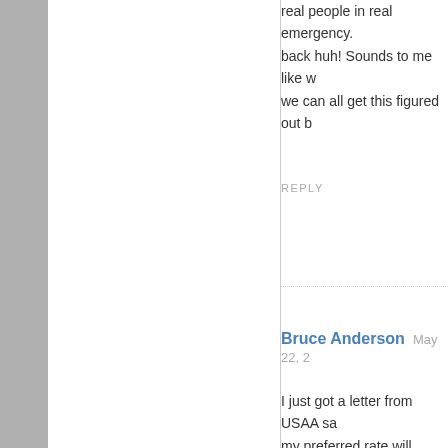real people in real emergency. back huh! Sounds to me like w we can all get this figured out b
REPLY
Bruce Anderson   May 22, 2
I just got a letter from USAA sa my preferred rate will SIGNIFIC You really have to wonder how Its pretty obvious that congres FEMA can once again pay tho And like most government age the people they hurt. Governm employee perks, have no incer go on and on, but it does no go My city continues to survey the council meeting, they were ver luck getting FEMA to do somet